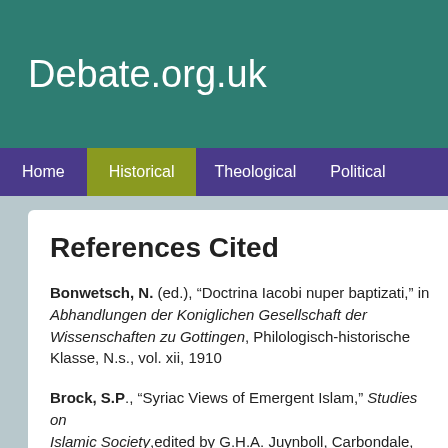Debate.org.uk
Home | Historical | Theological | Political
References Cited
Bonwetsch, N. (ed.), “Doctrina Iacobi nuper baptizati,” in Abhandlungen der Koniglichen Gesellschaft der Wissenschaften zu Gottingen, Philologisch-historische Klasse, N.s., vol. xii, 1910
Brock, S.P., “Syriac Views of Emergent Islam,” Studies on the First Century of Islamic Society, edited by G.H.A. Juynboll, Carbondale, So…
Bulliet, R.W., The Camel and the Wheel, Cambridge, Mas…
Cook, Michael, Muhammad, Oxford, Oxford University Pr…